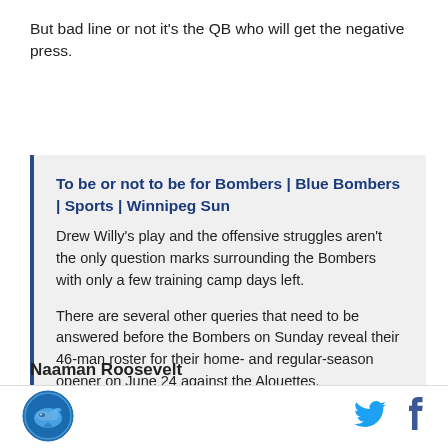But bad line or not it's the QB who will get the negative press.
To be or not to be for Bombers | Blue Bombers | Sports | Winnipeg Sun
Drew Willy's play and the offensive struggles aren't the only question marks surrounding the Bombers with only a few training camp days left.
There are several other queries that need to be answered before the Bombers on Sunday reveal their 46-man roster for their home- and regular-season opener on June 24 against the Alouettes.
Naaman Roosevelt
[Figure (logo): Circular logo with a shark or fish icon in blue tones]
[Figure (logo): Twitter bird icon in blue]
[Figure (logo): Facebook f icon in dark blue]